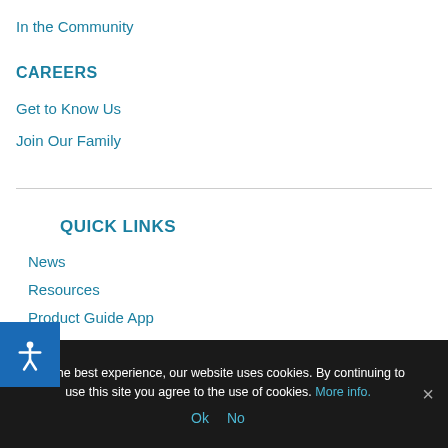In the Community
CAREERS
Get to Know Us
Join Our Family
QUICK LINKS
News
Resources
Product Guide App
Contact
For the best experience, our website uses cookies. By continuing to use this site you agree to the use of cookies. More info.
Ok  No